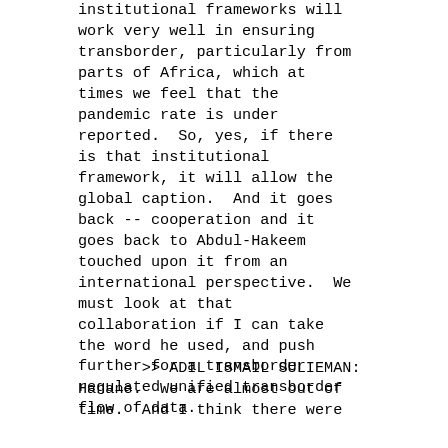institutional frameworks will work very well in ensuring transborder, particularly from parts of Africa, which at times we feel that the pandemic rate is under reported.  So, yes, if there is that institutional framework, it will allow the global caption.  And it goes back -- cooperation and it goes back to Abdul-Hakeem touched upon it from an international perspective.  We must look at that collaboration if I can take the word he used, and push further for a transborder regulated unified transborder flow of data.
>> ADIL ISMAIL SULIEMAN: Hanane.  We are almost out of time.  And I think there were